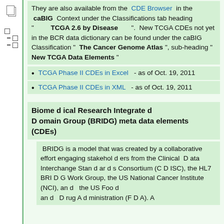They are also available from the CDE Browser in the caBIG Context under the Classifications tab heading "TCGA 2.6 by Disease". New TCGA CDEs not yet in the BCR data dictionary can be found under the caBIG Classification "The Cancer Genome Atlas", sub-heading "New TCGA Data Elements"
TCGA Phase II CDEs in Excel - as of Oct. 19, 2011
TCGA Phase II CDEs in XML - as of Oct. 19, 2011
Biomedical Research Integrated Domain Group (BRIDG) meta data elements (CDEs)
BRIDG is a model that was created by a collaborative effort engaging stakeholders from the Clinical Data Interchange Standards Consortium (CDISC), the HL7 BRIDG Work Group, the US National Cancer Institute (NCI), and the US Food and Drug Administration (FDA). A